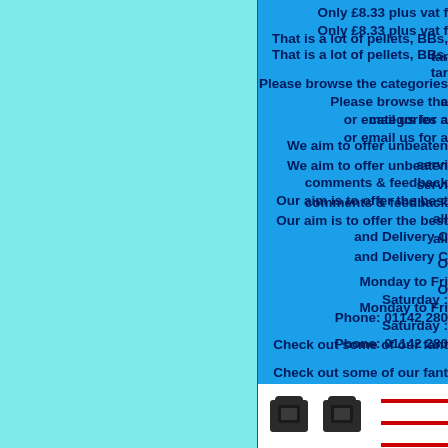Only £8.33 plus vat f
That is a lot of pellets, BBs, tar
Please browse the categories a or email us for a
We aim to offer unbeaten servi comments & feedback Our aim is to offer the best all and Delivery C
O Monday to Fri Saturday : Phone: 01142 280
Check out some of our fant
[Figure (photo): Two black plastic buckle clips side by side on white background]